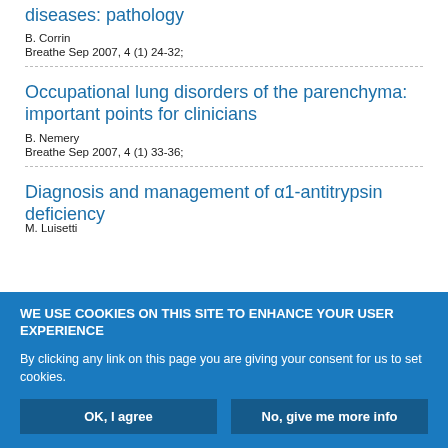diseases: pathology
B. Corrin
Breathe Sep 2007, 4 (1) 24-32;
Occupational lung disorders of the parenchyma: important points for clinicians
B. Nemery
Breathe Sep 2007, 4 (1) 33-36;
Diagnosis and management of α1-antitrypsin deficiency
M. Luisetti
WE USE COOKIES ON THIS SITE TO ENHANCE YOUR USER EXPERIENCE
By clicking any link on this page you are giving your consent for us to set cookies.
OK, I agree
No, give me more info